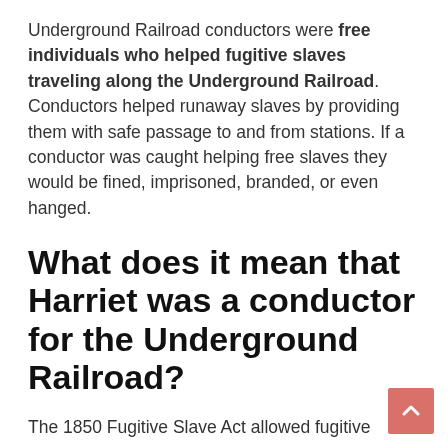Underground Railroad conductors were free individuals who helped fugitive slaves traveling along the Underground Railroad. Conductors helped runaway slaves by providing them with safe passage to and from stations. If a conductor was caught helping free slaves they would be fined, imprisoned, branded, or even hanged.
What does it mean that Harriet was a conductor for the Underground Railroad?
The 1850 Fugitive Slave Act allowed fugitive